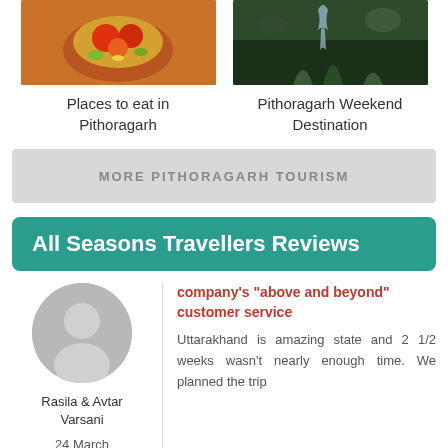[Figure (photo): Photo of food/dishes at a restaurant in Pithoragarh]
Places to eat in Pithoragarh
[Figure (photo): Nature/waterfall photo for Pithoragarh Weekend Destination]
Pithoragarh Weekend Destination
MORE PITHORAGARH TOURISM
All Seasons Travellers Reviews
[Figure (photo): Silhouette avatar placeholder for reviewer Rasila & Avtar Varsani]
Rasila & Avtar Varsani
24 March
company's "above and beyond" customer service
Uttarakhand is amazing state and 2 1/2 weeks wasn't nearly enough time. We planned the trip